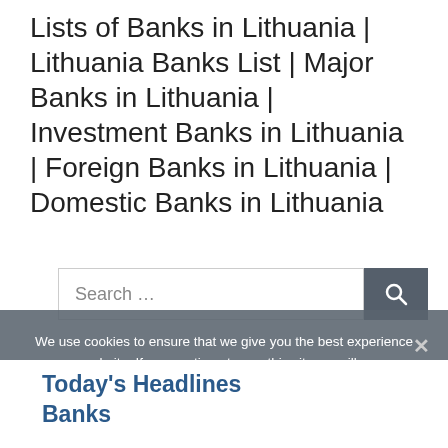Lists of Banks in Lithuania | Lithuania Banks List | Major Banks in Lithuania | Investment Banks in Lithuania | Foreign Banks in Lithuania | Domestic Banks in Lithuania
Search …
We use cookies to ensure that we give you the best experience on our website. If you continue to use this site we will assume that you are happy with it.
Ok
Today's Headlines Banks